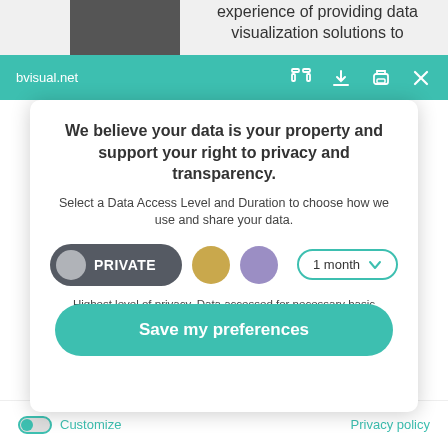experience of providing data visualization solutions to
bvisual.net
MVP and Visio expert
We believe your data is your property and support your right to privacy and transparency.
Select a Data Access Level and Duration to choose how we use and share your data.
PRIVATE
1 month
Highest level of privacy. Data accessed for necessary basic operations only. Data shared with 3rd parties to ensure the site is secure and works on your device
Save my preferences
Customize
Privacy policy
I used the formula from my earlier article Prototyping Visio ShapeSheet